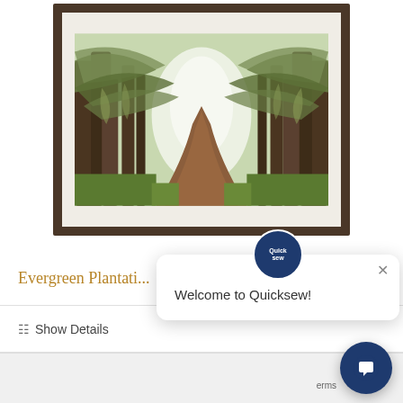[Figure (photo): Framed photograph of a tree-lined path (likely Evergreen Plantation) with tall oak trees forming an arch over a dirt road, misty atmospheric lighting, warm green and brown tones, displayed in a dark brown frame with cream matting]
Evergreen Plantati...
Show Details
[Figure (screenshot): Quicksew chat popup with logo circle badge, close X button, and message: Welcome to Quicksew!]
Welcome to Quicksew!